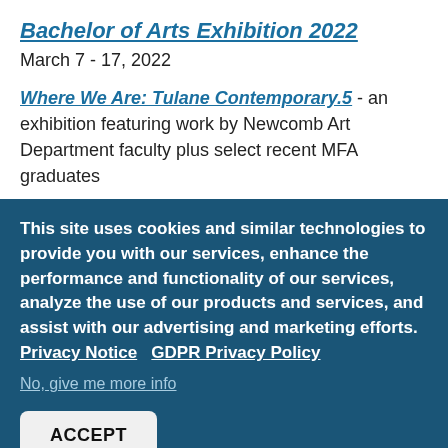Bachelor of Arts Exhibition 2022
March 7 - 17, 2022
Where We Are: Tulane Contemporary.5 - an exhibition featuring work by Newcomb Art Department faculty plus select recent MFA graduates
This site uses cookies and similar technologies to provide you with our services, enhance the performance and functionality of our services, analyze the use of our products and services, and assist with our advertising and marketing efforts.  Privacy Notice  GDPR Privacy Policy
No, give me more info
ACCEPT